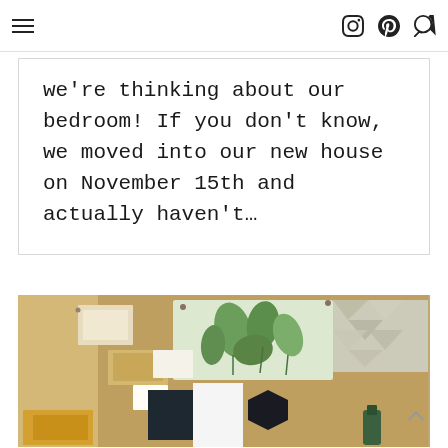Navigation header with hamburger menu and social/search icons
we're thinking about our bedroom! If you don't know, we moved into our new house on November 15th and actually haven't…
[Figure (photo): Mood board / design board photo showing cork board with botanical fabric swatches, geometric pattern fabric, dark navy and black tile samples, white ceramic samples, and various material swatches pinned to a board]